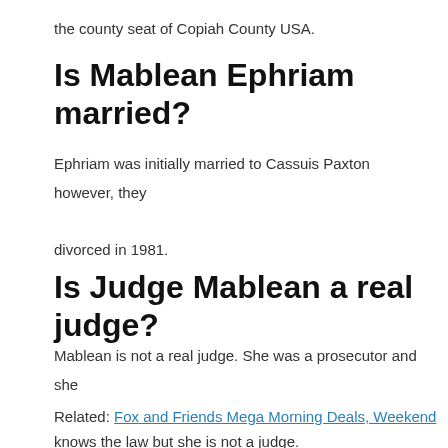the county seat of Copiah County USA.
Is Mablean Ephriam married?
Ephriam was initially married to Cassuis Paxton however, they divorced in 1981.
Is Judge Mablean a real judge?
Mablean is not a real judge. She was a prosecutor and she knows the law but she is not a judge.
Related: Fox and Friends Mega Morning Deals, Weekend